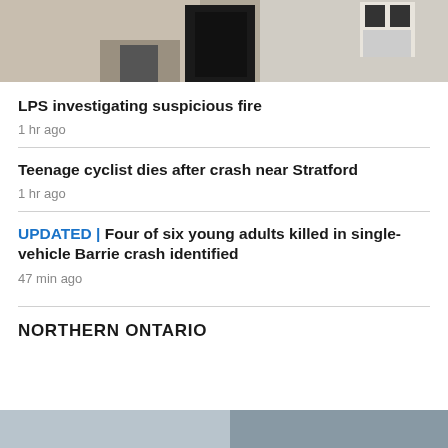[Figure (photo): Top portion of a news article page showing a building with doors, partially cropped at top]
LPS investigating suspicious fire
1 hr ago
Teenage cyclist dies after crash near Stratford
1 hr ago
UPDATED | Four of six young adults killed in single-vehicle Barrie crash identified
47 min ago
NORTHERN ONTARIO
[Figure (photo): Bottom of page showing partial photo, bottom edge cropped]